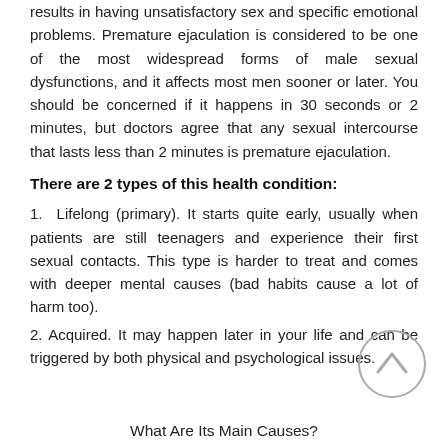results in having unsatisfactory sex and specific emotional problems. Premature ejaculation is considered to be one of the most widespread forms of male sexual dysfunctions, and it affects most men sooner or later. You should be concerned if it happens in 30 seconds or 2 minutes, but doctors agree that any sexual intercourse that lasts less than 2 minutes is premature ejaculation.
There are 2 types of this health condition:
1. Lifelong (primary). It starts quite early, usually when patients are still teenagers and experience their first sexual contacts. This type is harder to treat and comes with deeper mental causes (bad habits cause a lot of harm too).
2. Acquired. It may happen later in your life and can be triggered by both physical and psychological issues.
What Are Its Main Causes?